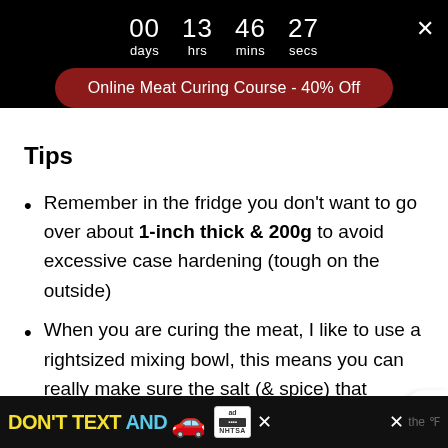00 days  13 hrs  46 mins  27 secs
Online Meat Curing Course - 40% Off
Tips
Remember in the fridge you don't want to go over about 1-inch thick & 200g to avoid excessive case hardening (tough on the outside)
When you are curing the meat, I like to use a rightsized mixing bowl, this means you can really make sure the salt (& spice) that
DON'T TEXT AND [car emoji] ad NHTSA the [weather icon]